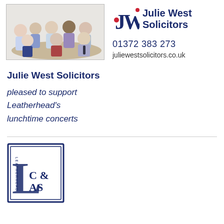[Figure (photo): Group photo of Julie West Solicitors staff members around a table]
[Figure (logo): Julie West Solicitors logo with stylised JW monogram, phone number 01372 383 273 and website juliewestsolicitors.co.uk]
Julie West Solicitors
pleased to support
Leatherhead's
lunchtime concerts
[Figure (logo): Leatherhead C&AS (Choral and Arts Society) logo with large decorative L and text C& AS in a double-bordered square frame]